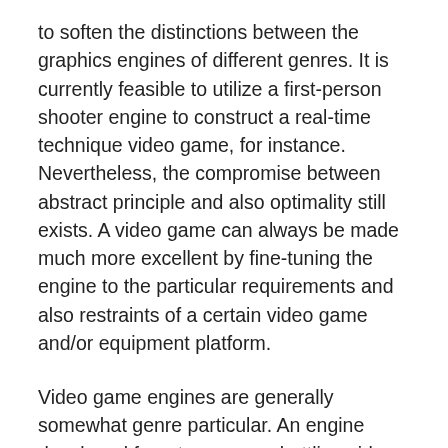to soften the distinctions between the graphics engines of different genres. It is currently feasible to utilize a first-person shooter engine to construct a real-time technique video game, for instance. Nevertheless, the compromise between abstract principle and also optimality still exists. A video game can always be made much more excellent by fine-tuning the engine to the particular requirements and also restraints of a certain video game and/or equipment platform.
Video game engines are generally somewhat genre particular. An engine developed for a two-person battling video game in a boxing ring will be really different from a greatly multiplayer online game (MMOG) engine or a first-person shooter (FPS) engine or a real-time technique (RTS) engine. Nevertheless, there is also a good deal of overlap-all 3D video games, no matter genre, need some kind of low-level individual input from the joypad, keyboard and/or mouse, some